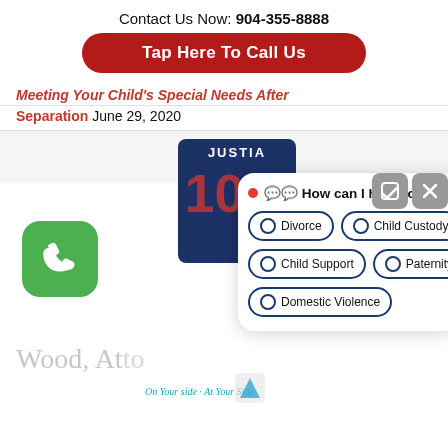Contact Us Now: 904-355-8888
[Figure (infographic): Red rounded button labeled 'Tap Here To Call Us']
Meeting Your Child's Special Needs After Separation June 29, 2020
[Figure (screenshot): Bottom section showing: green phone icon, Justia badge with score 10.0, chat popup with options 'How can I help you?' and choices: Divorce, Child Custody, Child Support, Paternity, Domestic Violence. Wood, Attorneys at Law logo partially visible.]